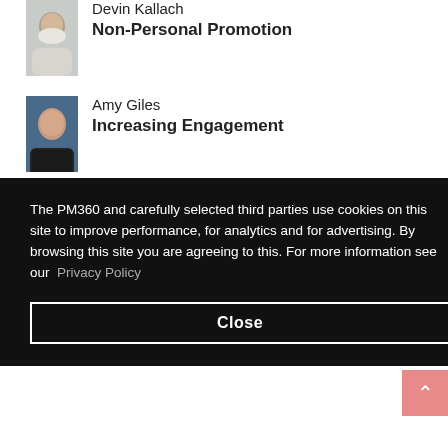[Figure (photo): Headshot of Devin Kallach]
Devin Kallach
Non-Personal Promotion
[Figure (photo): Headshot of Amy Giles]
Amy Giles
Increasing Engagement
[Figure (photo): Headshot of Lauren Lazar, MD]
Lauren Lazar, MD
[partially obscured]
The PM360 and carefully selected third parties use cookies on this site to improve performance, for analytics and for advertising. By browsing this site you are agreeing to this. For more information see our Privacy Policy
Close